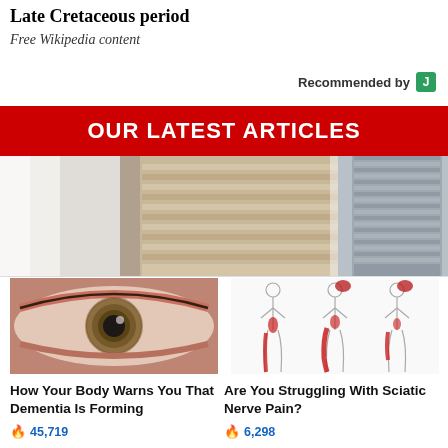Late Cretaceous period
Free Wikipedia content
Recommended by
OUR LATEST ARTICLES
[Figure (photo): Promotional image of a tall modern building viewed from below, split across two panels with a grey sky background. A 'Promoted' badge with X close button overlays the lower right.]
[Figure (photo): Close-up photograph of a human eye with a hazel iris.]
How Your Body Warns You That Dementia Is Forming
45,719
[Figure (illustration): Medical illustration showing three human body silhouettes from the side with red highlighted areas along the leg and lower back indicating sciatic nerve pain.]
Are You Struggling With Sciatic Nerve Pain?
6,298